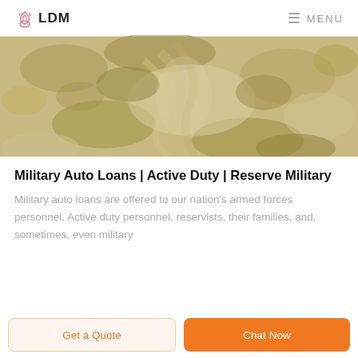LDM  MENU
[Figure (photo): Close-up photograph of desert camouflage military fabric, beige and tan tones with camouflage pattern]
Military Auto Loans | Active Duty | Reserve Military
Military auto loans are offered to our nation's armed forces personnel. Active duty personnel, reservists, their families, and, sometimes, even military
Get a Quote
Chat Now